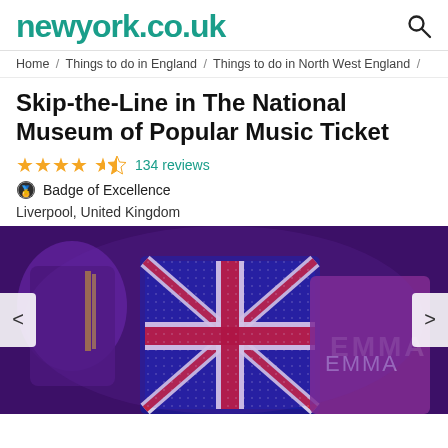newyork.co.uk
Home / Things to do in England / Things to do in North West England /
Skip-the-Line in The National Museum of Popular Music Ticket
★★★★½ 134 reviews
🏅 Badge of Excellence
Liverpool, United Kingdom
[Figure (photo): Photo showing performers in jewelled Union Jack costumes under purple stage lighting, with the text 'EMMA' visible in rhinestones on one costume.]